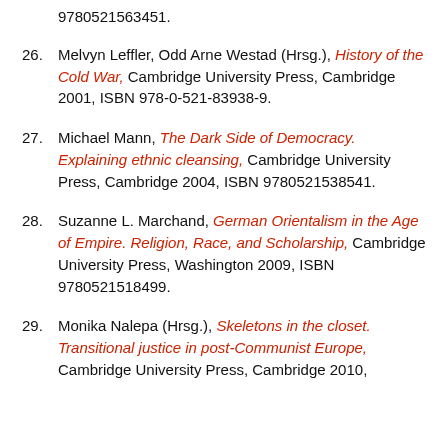9780521563451.
26. Melvyn Leffler, Odd Arne Westad (Hrsg.), History of the Cold War, Cambridge University Press, Cambridge 2001, ISBN 978-0-521-83938-9.
27. Michael Mann, The Dark Side of Democracy. Explaining ethnic cleansing, Cambridge University Press, Cambridge 2004, ISBN 9780521538541.
28. Suzanne L. Marchand, German Orientalism in the Age of Empire. Religion, Race, and Scholarship, Cambridge University Press, Washington 2009, ISBN 9780521518499.
29. Monika Nalepa (Hrsg.), Skeletons in the closet. Transitional justice in post-Communist Europe, Cambridge University Press, Cambridge 2010,